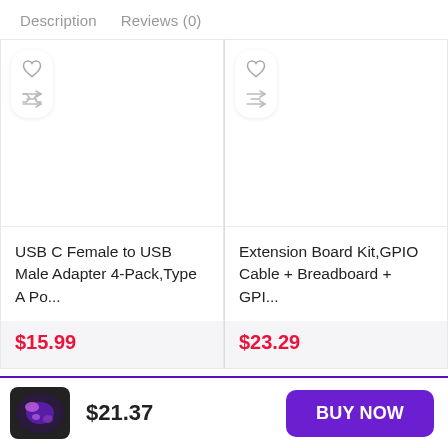Description   Reviews (0)
USB C Female to USB Male Adapter 4-Pack,Type A Po...
$15.99
Extension Board Kit,GPIO Cable + Breadboard + GPI...
$23.29
$21.37
BUY NOW